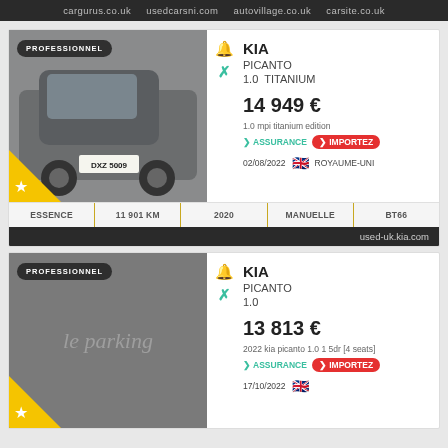cargurus.co.uk   usedcarsni.com   autovillage.co.uk   carsite.co.uk
[Figure (photo): Photo of a grey/bronze Kia Picanto hatchback parked, license plate DXZ 5009, with PROFESSIONNEL badge and star icon]
KIA PICANTO 1.0 TITANIUM
14 949 €
1.0 mpi titanium edition
ASSURANCE IMPORTEZ
02/08/2022 ROYAUME-UNI
ESSENCE | 11 901 KM | 2020 | MANUELLE | BT66
used-uk.kia.com
[Figure (photo): Placeholder image with 'le parking' text watermark, dark grey background, PROFESSIONNEL badge]
KIA PICANTO 1.0
13 813 €
2022 kia picanto 1.0 1 5dr [4 seats]
ASSURANCE IMPORTEZ